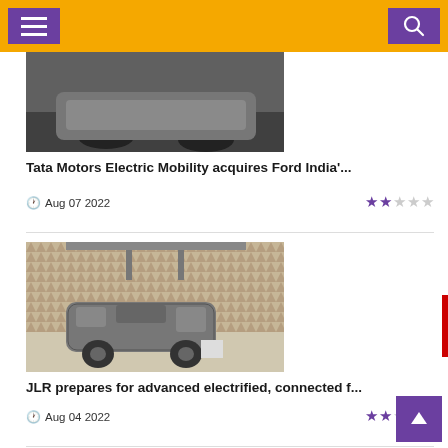Navigation header with menu and search buttons
[Figure (photo): Partial view of a dark car from behind, positioned on a grey surface]
Tata Motors Electric Mobility acquires Ford India'...
Aug 07 2022
[Figure (photo): A camouflaged SUV vehicle inside an anechoic chamber with foam-covered walls and ceiling-mounted equipment]
JLR prepares for advanced electrified, connected f...
Aug 04 2022
[Figure (photo): A black motorcycle/scooter shown from the side, partially visible at the bottom of the page]